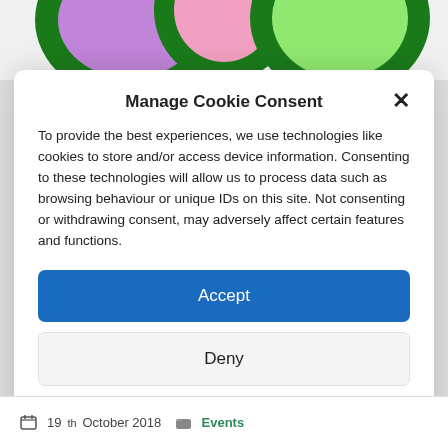[Figure (screenshot): Partial view of a website header with green circular logo elements on a colorful background (green, pink, purple)]
Manage Cookie Consent
To provide the best experiences, we use technologies like cookies to store and/or access device information. Consenting to these technologies will allow us to process data such as browsing behaviour or unique IDs on this site. Not consenting or withdrawing consent, may adversely affect certain features and functions.
Accept
Deny
View preferences
Cookie Policy   Privacy & Cookie Policy, Terms of Use
19th October 2018   Events